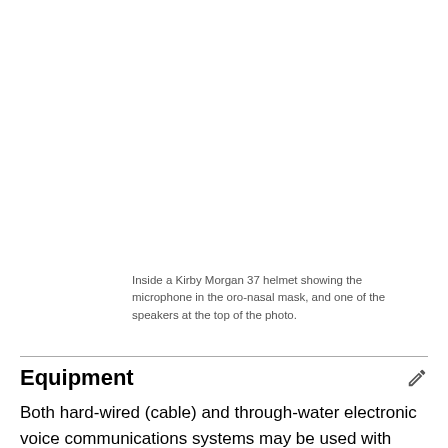Inside a Kirby Morgan 37 helmet showing the microphone in the oro-nasal mask, and one of the speakers at the top of the photo.
Equipment
Both hard-wired (cable) and through-water electronic voice communications systems may be used with surface supplied diving. Wired systems are more popular as there